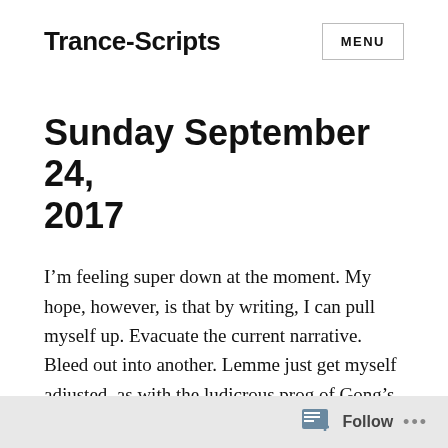Trance-Scripts  MENU
Sunday September 24, 2017
I’m feeling super down at the moment. My hope, however, is that by writing, I can pull myself up. Evacuate the current narrative. Bleed out into another. Lemme just get myself adjusted, as with the ludicrous prog of Gong’s “Master Builder.”
Follow ...